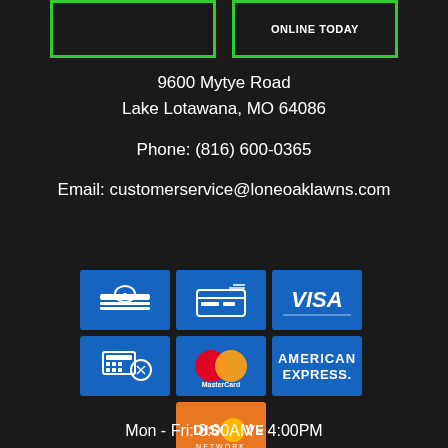[Figure (other): Two green-bordered buttons at top; right button reads ONLINE TODAY]
9600 Mytye Road
Lake Lotawana, MO 64086
Phone: (816) 600-0365
Email: customerservice@loneoaklawns.com
[Figure (other): Payment method icons: cash, check/card, VISA, credit card terminal, MasterCard, American Express, Discover Network]
Mon - Fri: 8:00AM - 4:00PM